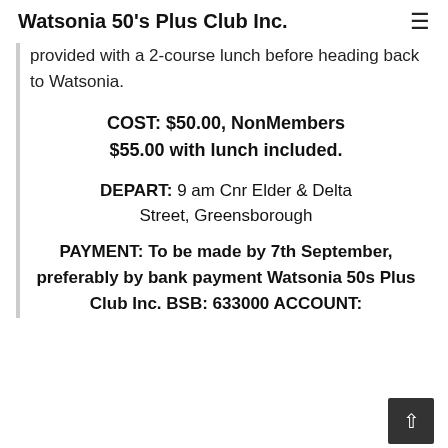Watsonia 50's Plus Club Inc.
provided with a 2-course lunch before heading back to Watsonia.
COST: $50.00, NonMembers $55.00 with lunch included.
DEPART: 9 am Cnr Elder & Delta Street, Greensborough
PAYMENT: To be made by 7th September, preferably by bank payment Watsonia 50s Plus Club Inc. BSB: 633000 ACCOUNT: